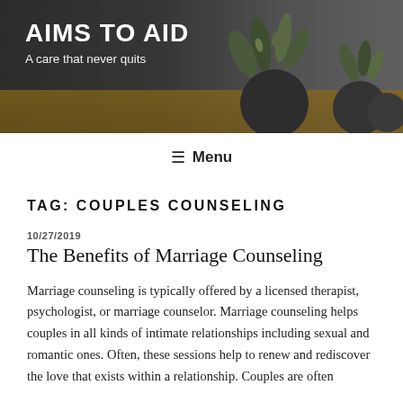[Figure (photo): Website header banner with dark background showing plant silhouettes on a desk. Text overlay reads 'AIMS TO AID' and 'A care that never quits'.]
AIMS TO AID
A care that never quits
≡ Menu
TAG: COUPLES COUNSELING
10/27/2019
The Benefits of Marriage Counseling
Marriage counseling is typically offered by a licensed therapist, psychologist, or marriage counselor. Marriage counseling helps couples in all kinds of intimate relationships including sexual and romantic ones. Often, these sessions help to renew and rediscover the love that exists within a relationship. Couples are often